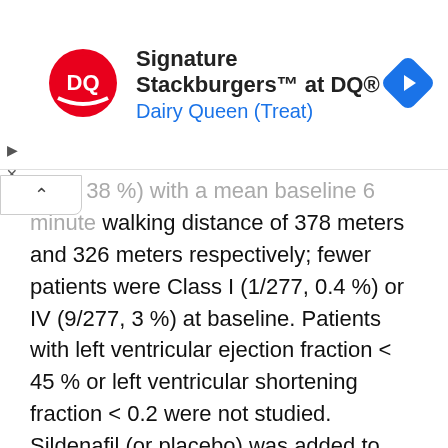[Figure (other): Dairy Queen advertisement banner showing DQ logo, text 'Signature Stackburgers™ at DQ®' and 'Dairy Queen (Treat)', with a navigation arrow icon on the right]
(277, 38 %) with a mean baseline 6 minute walking distance of 378 meters and 326 meters respectively; fewer patients were Class I (1/277, 0.4 %) or IV (9/277, 3 %) at baseline. Patients with left ventricular ejection fraction < 45 % or left ventricular shortening fraction < 0.2 were not studied. Sildenafil (or placebo) was added to patients' background therapy which could have included a combination of anticoagulation, digoxin, calcium channel blockers, diuretics or oxygen. The use of prostacyclin, prostacyclin analogues and endothelin receptor antagonists was not permitted